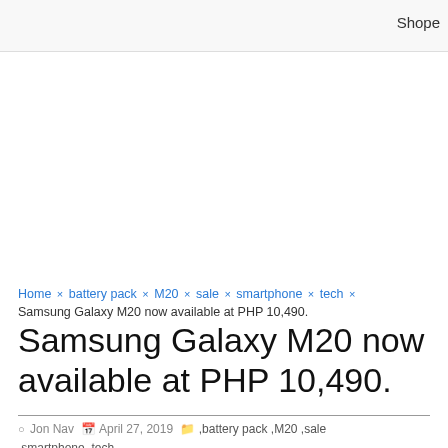Shope
Home × battery pack × M20 × sale × smartphone × tech × Samsung Galaxy M20 now available at PHP 10,490.
Samsung Galaxy M20 now available at PHP 10,490.
Jon Nav  April 27, 2019  ,battery pack ,M20 ,sale ,smartphone ,tech